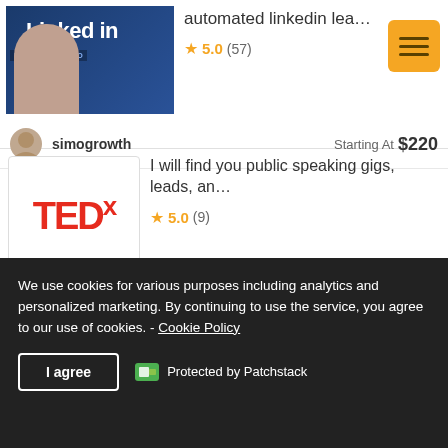[Figure (screenshot): LinkedIn Lead Generation thumbnail with man's photo]
automated linkedin lea…
★ 5.0 (57)
simogrowth   Starting At  $220
[Figure (logo): TEDx logo in red]
I will find you public speaking gigs, leads, an…
★ 5.0 (9)
ccreativecollab   Starting At  $65
[Figure (screenshot): Email list thumbnail with text: I Provide an Email List of your Best Customers]
I will create an email lead list for any
We use cookies for various purposes including analytics and personalized marketing. By continuing to use the service, you agree to our use of cookies. - Cookie Policy
I agree   Protected by Patchstack